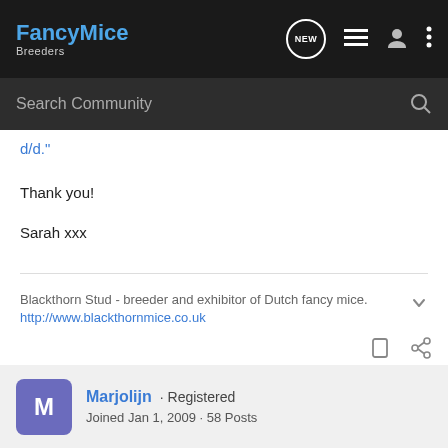FancyMice Breeders
d/d."
Thank you!
Sarah xxx
Blackthorn Stud - breeder and exhibitor of Dutch fancy mice.
http://www.blackthornmice.co.uk
Marjolijn · Registered
Joined Jan 1, 2009 · 58 Posts